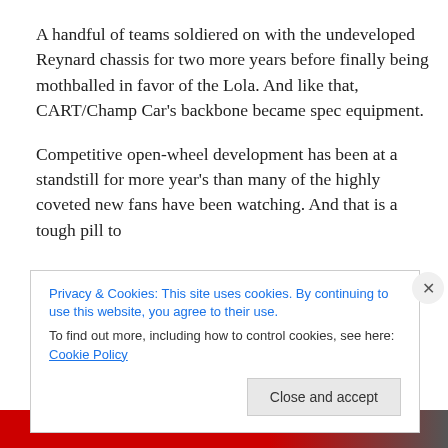A handful of teams soldiered on with the undeveloped Reynard chassis for two more years before finally being mothballed in favor of the Lola. And like that, CART/Champ Car's backbone became spec equipment.
Competitive open-wheel development has been at a standstill for more year's than many of the highly coveted new fans have been watching. And that is a tough pill to
Privacy & Cookies: This site uses cookies. By continuing to use this website, you agree to their use.
To find out more, including how to control cookies, see here: Cookie Policy
Close and accept